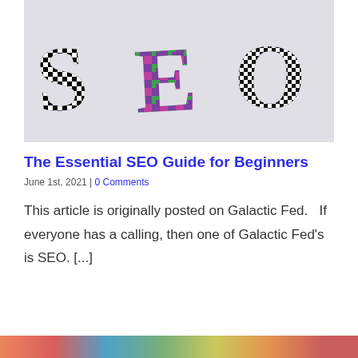[Figure (photo): Decorative SEO letters made from patterned fabric/ceramic tiles on a light gray background. S has black and white houndstooth pattern, E has purple and green geometric pattern, O has black and white zigzag pattern.]
The Essential SEO Guide for Beginners
June 1st, 2021 | 0 Comments
This article is originally posted on Galactic Fed.   If everyone has a calling, then one of Galactic Fed's is SEO. [...]
[Figure (photo): Bottom strip showing partial image with colorful content.]